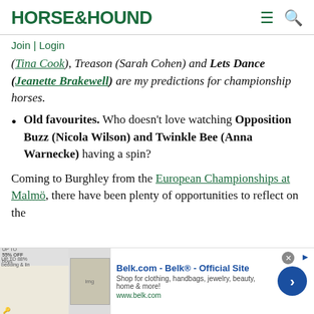HORSE&HOUND
Join | Login
(Tina Cook), Treason (Sarah Cohen) and Lets Dance (Jeanette Brakewell) are my predictions for championship horses.
Old favourites. Who doesn't love watching Opposition Buzz (Nicola Wilson) and Twinkle Bee (Anna Warnecke) having a spin?
Coming to Burghley from the European Championships at Malmö, there have been plenty of opportunities to reflect on the
[Figure (screenshot): Advertisement banner for Belk.com - Belk Official Site. Shows clothing/home goods image on left, ad text in center, blue circular arrow button on right.]